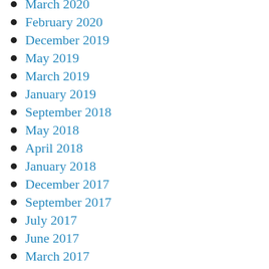March 2020
February 2020
December 2019
May 2019
March 2019
January 2019
September 2018
May 2018
April 2018
January 2018
December 2017
September 2017
July 2017
June 2017
March 2017
November 2016
October 2016